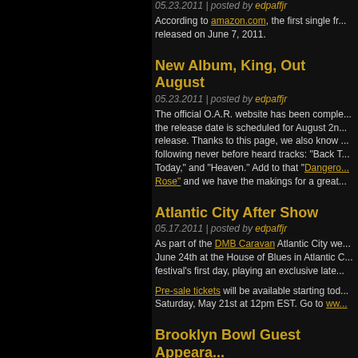05.23.2011 | posted by edpaffjr According to amazon.com, the first single fr... released on June 7, 2011.
New Album, King, Out August
05.23.2011 | posted by edpaffjr The official O.A.R. website has been comple... the release date is scheduled for August 2n... release. Thanks to this page, we also know ... following never before heard tracks: "Back T... Today," and "Heaven." Add to that "Dangero... Rose" and we have the makings for a great...
Atlantic City After Show
05.17.2011 | posted by edpaffjr As part of the DMB Caravan Atlantic City we... June 24th at the House of Blues in Atlantic C... festival's first day, playing an exclusive late...
Pre-sale tickets will be available starting tod... Saturday, May 21st at 12pm EST. Go to ww...
Brooklyn Bowl Guest Appeara...
05.17.2011 | posted by edpaffjr Robert Randolph & The Family Band will be... special guests Marc Roberge and Benj Gers... Benj, click here. Doors are at 6pm, and the s...